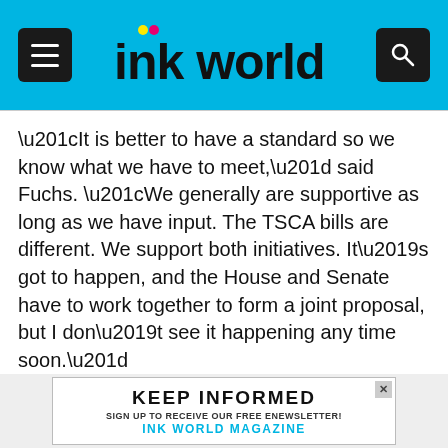ink world
“It is better to have a standard so we know what we have to meet,” said Fuchs. “We generally are supportive as long as we have input. The TSCA bills are different. We support both initiatives. It’s got to happen, and the House and Senate have to work together to form a joint proposal, but I don’t see it happening any time soon.”
David Wawer, executive director of the Color Pigments Manufacturers Association (CPMA), talked about concerns over the proposed Trans Pacific Partnership.
“If enacted, the Trans Pacific Partnership would eliminate duties on all pigments, paints and inks, but trade and tariffs are part of doing business,” he said. “CPMA opposes the
[Figure (other): Advertisement banner: KEEP INFORMED - SIGN UP TO RECEIVE OUR FREE ENEWSLETTER! INK WORLD MAGAZINE]